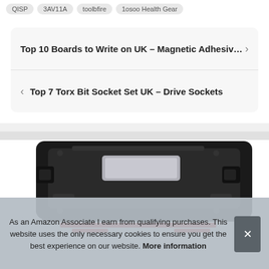QISP  3AV11A  toolbfire  1osoo Health Gear
Top 10 Boards to Write on UK – Magnetic Adhesiv…
Top 7 Torx Bit Socket Set UK – Drive Sockets
[Figure (photo): Product image of a black tool/socket set case with red accents, partially visible]
As an Amazon Associate I earn from qualifying purchases. This website uses the only necessary cookies to ensure you get the best experience on our website. More information